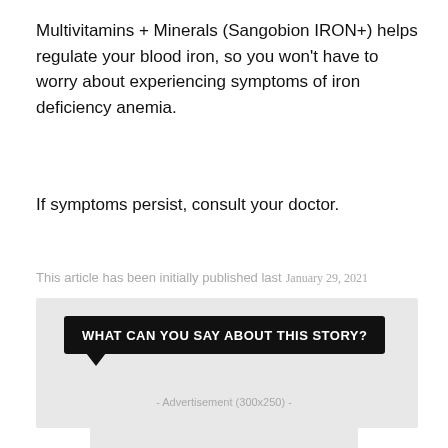Multivitamins + Minerals (Sangobion IRON+) helps regulate your blood iron, so you won't have to worry about experiencing symptoms of iron deficiency anemia.
If symptoms persist, consult your doctor.
This article has been initially published last January 29, 2021
[Figure (other): Speech bubble graphic with black background containing the text 'WHAT CAN YOU SAY ABOUT THIS STORY?' inside a light gray box comment section]
- Advertisement (300x250) -